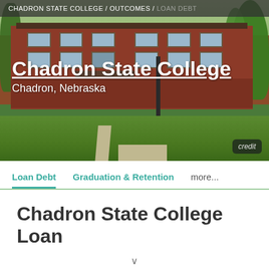[Figure (photo): Aerial/front view of Chadron State College brick building campus with green lawn and trees]
CHADRON STATE COLLEGE / OUTCOMES / LOAN DEBT
Chadron State College
Chadron, Nebraska
credit
Loan Debt   Graduation & Retention   more...
Chadron State College Loan